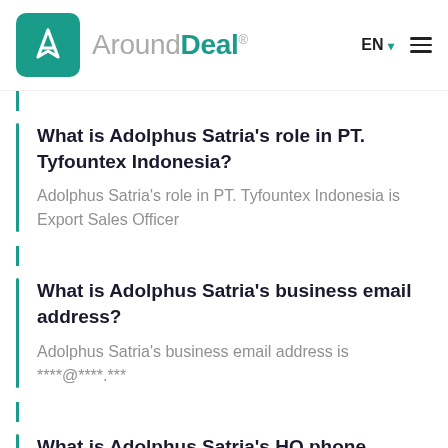AroundDeal® EN
What is Adolphus Satria’s role in PT. Tyfountex Indonesia?
Adolphus Satria's role in PT. Tyfountex Indonesia is Export Sales Officer
What is Adolphus Satria’s business email address?
Adolphus Satria's business email address is ****@****.***
What is Adolphus Satria’s HQ phone number?